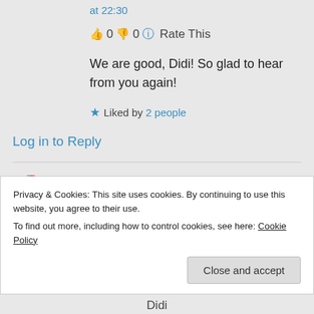at 22:30
👍 0 👎 0 ℹ Rate This
We are good, Didi! So glad to hear from you again!
★ Liked by 2 people
Log in to Reply
Didis Art Design on 08/02/2018 at 07:08
Privacy & Cookies: This site uses cookies. By continuing to use this website, you agree to their use.
To find out more, including how to control cookies, see here: Cookie Policy
Close and accept
Didi